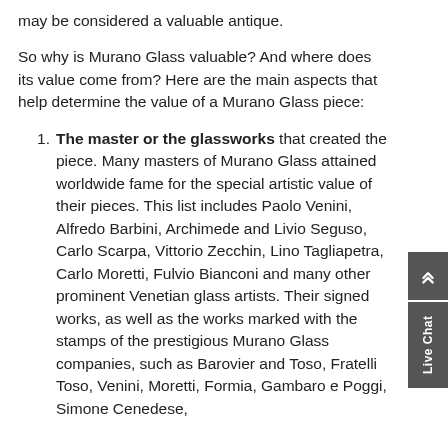may be considered a valuable antique.
So why is Murano Glass valuable? And where does its value come from? Here are the main aspects that help determine the value of a Murano Glass piece:
The master or the glassworks that created the piece. Many masters of Murano Glass attained worldwide fame for the special artistic value of their pieces. This list includes Paolo Venini, Alfredo Barbini, Archimede and Livio Seguso, Carlo Scarpa, Vittorio Zecchin, Lino Tagliapetra, Carlo Moretti, Fulvio Bianconi and many other prominent Venetian glass artists. Their signed works, as well as the works marked with the stamps of the prestigious Murano Glass companies, such as Barovier and Toso, Fratelli Toso, Venini, Moretti, Formia, Gambaro e Poggi, Simone Cenedese,